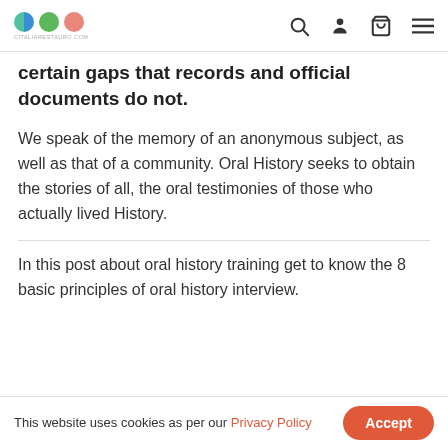citaliarestauro.com navigation header with logo and icons
certain gaps that records and official documents do not.
We speak of the memory of an anonymous subject, as well as that of a community. Oral History seeks to obtain the stories of all, the oral testimonies of those who actually lived History.
In this post about oral history training get to know the 8 basic principles of oral history interview.
This website uses cookies as per our Privacy Policy  Accept